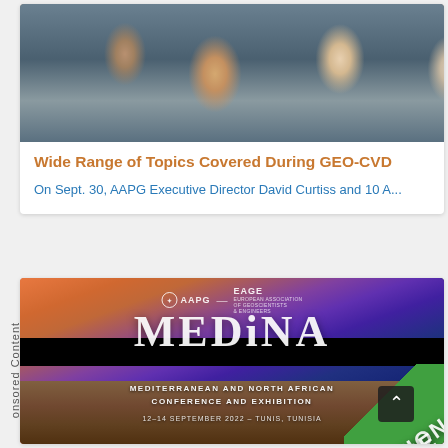[Figure (photo): Group photo of AAPG members/staff at GEO-CVD event, multiple people posing together]
Wide Range of Topics Covered During GEO-CVD
On Sept. 30, AAPG Executive Director David Curtiss and 10 A...
[Figure (photo): AAPG EAGE MEDINA conference banner — Mediterranean and North African Conference and Exhibition, 12-14 September 2022, Tunis, Tunisia. Registration Now Open shown diagonally.]